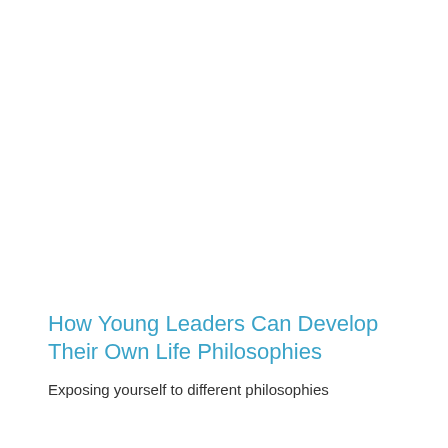How Young Leaders Can Develop Their Own Life Philosophies
Exposing yourself to different philosophies